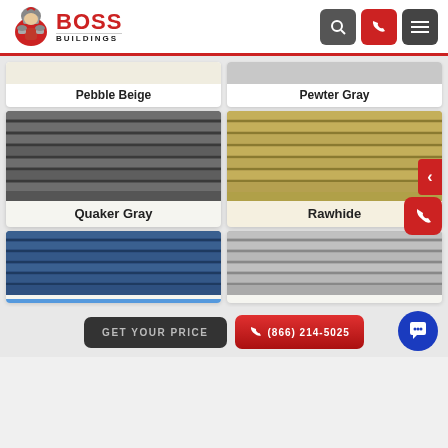[Figure (logo): Boss Buildings logo with gladiator icon, red BOSS text, BUILDINGS subtext]
Pebble Beige
Pewter Gray
[Figure (photo): Quaker Gray metal panel swatch - horizontal ribbed steel in dark gray]
Quaker Gray
[Figure (photo): Rawhide metal panel swatch - horizontal ribbed steel in tan/gold color]
Rawhide
[Figure (photo): Blue metal panel swatch - horizontal ribbed steel in dark blue]
[Figure (photo): Light gray metal panel swatch - horizontal ribbed steel]
GET YOUR PRICE
(866) 214-5025